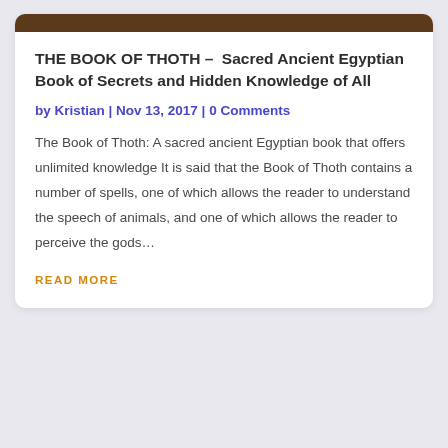[Figure (photo): Partial image of an ancient Egyptian artifact or golden object at the top of the card]
THE BOOK OF THOTH – Sacred Ancient Egyptian Book of Secrets and Hidden Knowledge of All
by Kristian | Nov 13, 2017 | 0 Comments
The Book of Thoth: A sacred ancient Egyptian book that offers unlimited knowledge It is said that the Book of Thoth contains a number of spells, one of which allows the reader to understand the speech of animals, and one of which allows the reader to perceive the gods…
READ MORE